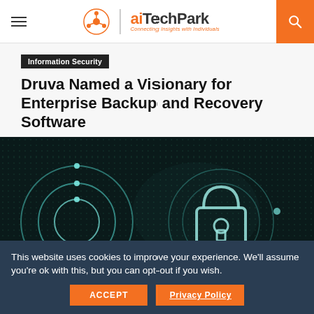aiTechPark — Connecting Insights with Individuals
Information Security
Druva Named a Visionary for Enterprise Backup and Recovery Software
by Business Wire  July 22, 2021
[Figure (photo): Dark digital background with glowing teal lock icon and circular rings, representing cybersecurity theme]
This website uses cookies to improve your experience. We'll assume you're ok with this, but you can opt-out if you wish.
ACCEPT   Privacy Policy